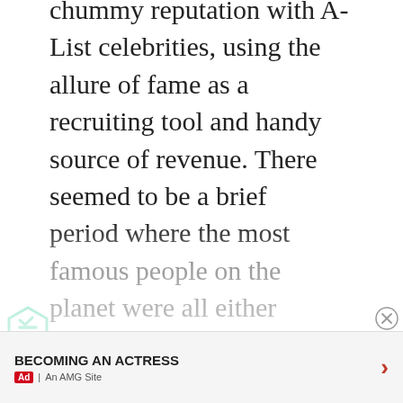chummy reputation with A-List celebrities, using the allure of fame as a recruiting tool and handy source of revenue. There seemed to be a brief period where the most famous people on the planet were all either signed members of Scientology or in some way adjacent to its celebrity centers. Nowadays, however, their numbers seem far less glowing. Tom Cruise remains the almighty
[Figure (other): Green triangular Feedly-style logo icon on left side]
[Figure (other): Gray circle with X close button on upper right of ad bar]
BECOMING AN ACTRESS
Ad | An AMG Site